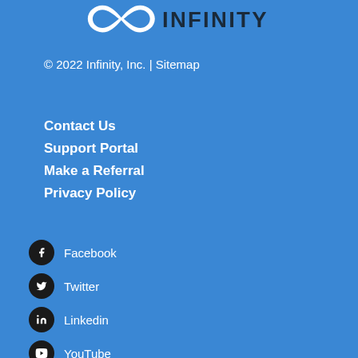[Figure (logo): Infinity Inc. logo — infinity symbol with INFINITY text, white on blue background]
© 2022 Infinity, Inc. | Sitemap
Contact Us
Support Portal
Make a Referral
Privacy Policy
Facebook
Twitter
Linkedin
YouTube